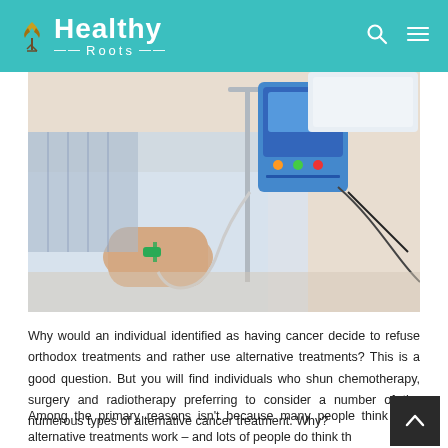Healthy Roots
[Figure (photo): Patient lying in hospital bed with IV drip attached to hand, medical infusion pump visible in background]
Why would an individual identified as having cancer decide to refuse orthodox treatments and rather use alternative treatments? This is a good question. But you will find individuals who shun chemotherapy, surgery and radiotherapy preferring to consider a number of the numerous types of alternative cancer treatment. Why?
Among the primary reasons isn't because many people think alternative treatments work – and lots of people do think th...